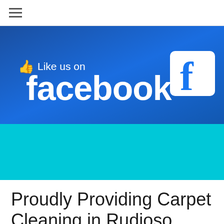☰
[Figure (illustration): Like us on Facebook banner with blue gradient background, thumbs up icon, 'Like us on facebook' text in white, and Facebook logo (white F on blue square) on the right]
Proudly Providing Carpet Cleaning in Rudioso, Ruidoso Downs, Alto,